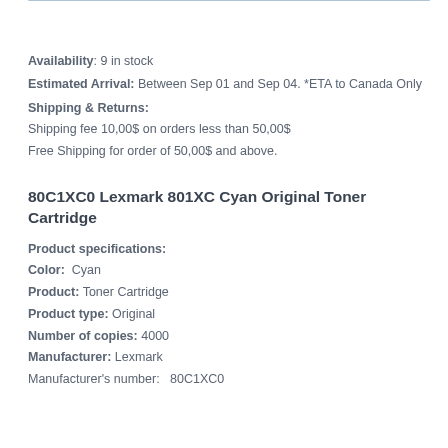Availability: 9 in stock
Estimated Arrival: Between Sep 01 and Sep 04. *ETA to Canada Only
Shipping & Returns:
Shipping fee 10,00$ on orders less than 50,00$
Free Shipping for order of 50,00$ and above.
80C1XC0 Lexmark 801XC Cyan Original Toner Cartridge
Product specifications:
Color: Cyan
Product: Toner Cartridge
Product type: Original
Number of copies: 4000
Manufacturer: Lexmark
Manufacturer's number: 80C1XC0